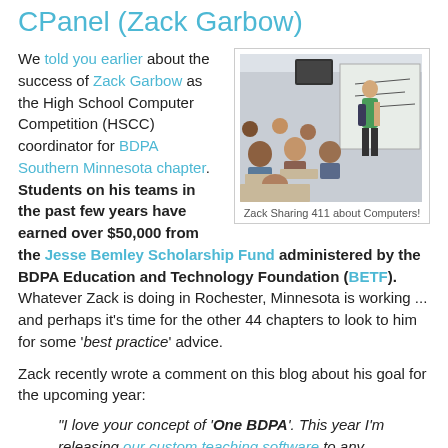CPanel (Zack Garbow)
[Figure (photo): A man in a green shirt writing on a whiteboard in front of a classroom of students]
Zack Sharing 411 about Computers!
We told you earlier about the success of Zack Garbow as the High School Computer Competition (HSCC) coordinator for BDPA Southern Minnesota chapter. Students on his teams in the past few years have earned over $50,000 from the Jesse Bemley Scholarship Fund administered by the BDPA Education and Technology Foundation (BETF). Whatever Zack is doing in Rochester, Minnesota is working ... and perhaps it's time for the other 44 chapters to look to him for some 'best practice' advice.
Zack recently wrote a comment on this blog about his goal for the upcoming year:
"I love your concept of 'One BDPA'. This year I'm releasing our custom teaching software to any